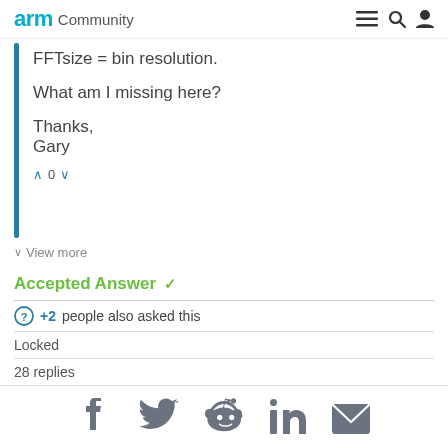arm Community
FFTsize = bin resolution.
What am I missing here?
Thanks,
Gary
^ 0 v
v  View more
Accepted Answer ✓
+2  people also asked this
Locked
28 replies
[Figure (illustration): Social sharing icons: Facebook, Twitter, Reddit, LinkedIn, Email]